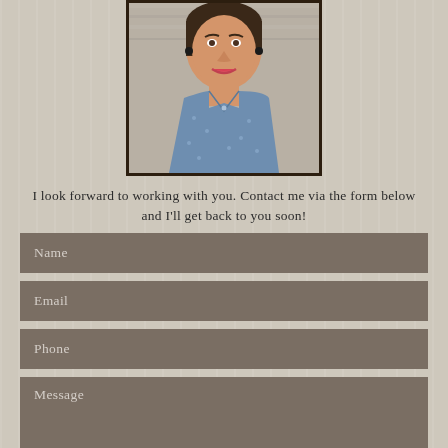[Figure (photo): Portrait photo of a smiling woman wearing a blue denim polka-dot shirt, with short dark hair and earrings, against a textured wall background. Photo has a dark brown border/frame.]
I look forward to working with you. Contact me via the form below and I'll get back to you soon!
Name
Email
Phone
Message